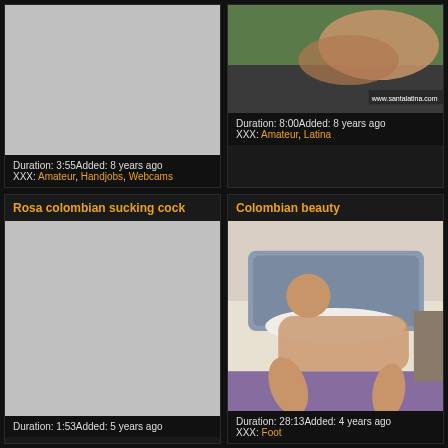[Figure (screenshot): Video thumbnail placeholder (gray) for amateur/handjobs/webcams video]
Duration: 3:55Added: 8 years ago
XXX: Amateur, Handjobs, Webcams
[Figure (screenshot): Video thumbnail showing outdoor scene, watermark www.santalatina.com]
Duration: 8:00Added: 8 years ago
XXX: Amateur, Latina
Rosa colombian sucking cock
Colombian beauty
[Figure (screenshot): Video thumbnail placeholder (gray) for Rosa colombian sucking cock]
Duration: 1:53Added: 5 years ago
[Figure (photo): Video thumbnail showing woman on bed in bedroom]
Duration: 28:13Added: 4 years ago
XXX: Foot